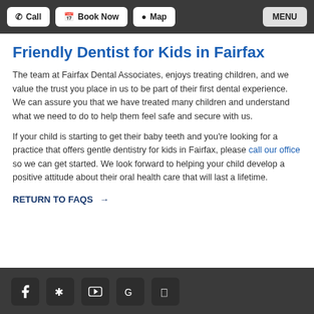Call | Book Now | Map | MENU
Friendly Dentist for Kids in Fairfax
The team at Fairfax Dental Associates, enjoys treating children, and we value the trust you place in us to be part of their first dental experience. We can assure you that we have treated many children and understand what we need to do to help them feel safe and secure with us.
If your child is starting to get their baby teeth and you're looking for a practice that offers gentle dentistry for kids in Fairfax, please call our office so we can get started. We look forward to helping your child develop a positive attitude about their oral health care that will last a lifetime.
RETURN TO FAQS →
Facebook | Yelp | YouTube | Google | Foursquare